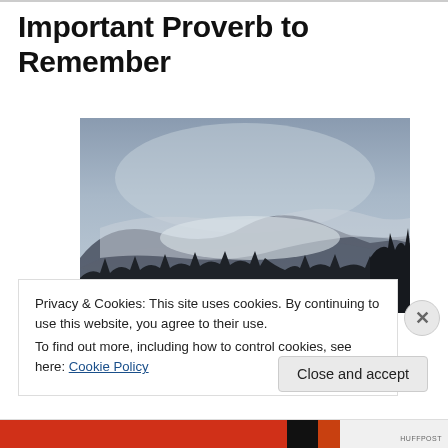Important Proverb to Remember
[Figure (photo): A misty mountain landscape with fog covering a forested hillside under a grey sky, with dark silhouetted trees in the foreground and right edge.]
Privacy & Cookies: This site uses cookies. By continuing to use this website, you agree to their use.
To find out more, including how to control cookies, see here: Cookie Policy
Close and accept